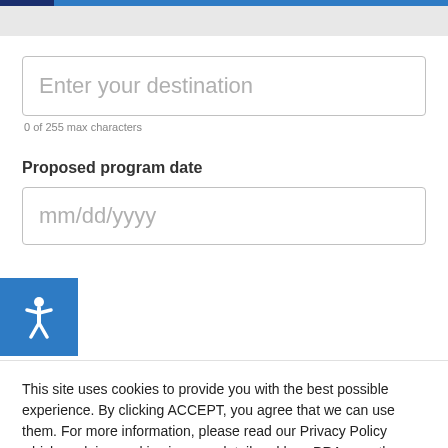Enter your destination
0 of 255 max characters
Proposed program date
mm/dd/yyyy
This site uses cookies to provide you with the best possible experience. By clicking ACCEPT, you agree that we can use them. For more information, please read our Privacy Policy which explains cookies in more detail and how PRA uses them. Thank you for visiting pra.com
Cookie Settings
Accept All